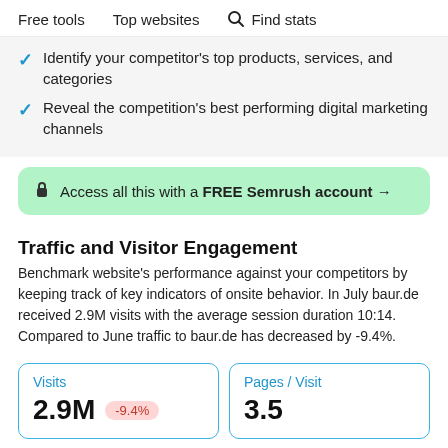Free tools   Top websites   Find stats
Identify your competitor's top products, services, and categories
Reveal the competition's best performing digital marketing channels
Access all this with a FREE Semrush account →
Traffic and Visitor Engagement
Benchmark website's performance against your competitors by keeping track of key indicators of onsite behavior. In July baur.de received 2.9M visits with the average session duration 10:14. Compared to June traffic to baur.de has decreased by -9.4%.
| Visits | Pages / Visit |
| --- | --- |
| 2.9M  -9.4% | 3.5 |